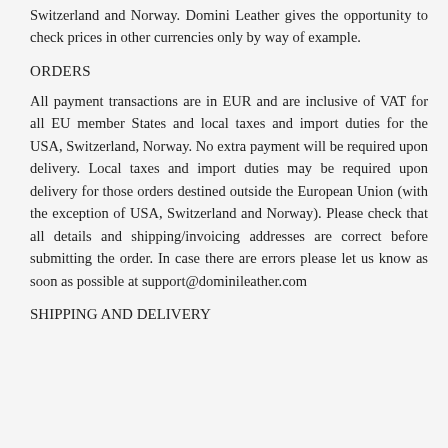Switzerland and Norway. Domini Leather gives the opportunity to check prices in other currencies only by way of example.
ORDERS
All payment transactions are in EUR and are inclusive of VAT for all EU member States and local taxes and import duties for the USA, Switzerland, Norway. No extra payment will be required upon delivery. Local taxes and import duties may be required upon delivery for those orders destined outside the European Union (with the exception of USA, Switzerland and Norway). Please check that all details and shipping/invoicing addresses are correct before submitting the order. In case there are errors please let us know as soon as possible at support@dominileather.com
SHIPPING AND DELIVERY